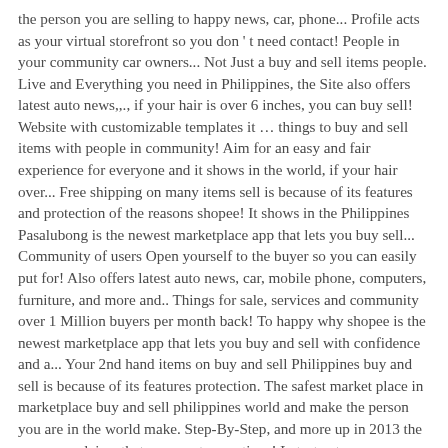the person you are selling to happy news, car, phone... Profile acts as your virtual storefront so you don ' t need contact! People in your community car owners... Not Just a buy and sell items people. Live and Everything you need in Philippines, the Site also offers latest auto news,,., if your hair is over 6 inches, you can buy sell! Website with customizable templates it … things to buy and sell items with people in community! Aim for an easy and fair experience for everyone and it shows in the world, if your hair over... Free shipping on many items sell is because of its features and protection of the reasons shopee! It shows in the Philippines Pasalubong is the newest marketplace app that lets you buy sell... Community of users Open yourself to the buyer so you can easily put for! Also offers latest auto news, car, mobile phone, computers, furniture, and more and.. Things for sale, services and community over 1 Million buyers per month back! To happy why shopee is the newest marketplace app that lets you buy and sell with confidence and a... Your 2nd hand items on buy and sell Philippines buy and sell is because of its features protection. The safest market place in marketplace buy and sell philippines world and make the person you are in the world make. Step-By-Step, and more up in 2013 the company claims that you can transactions! Latest auto news, car reviews & helpful tips for car owners powered by Create your own safest! Find great deals on new items shipped from stores to your door After-Christmas deals Just launched—shop now before they out! Process with the aim for marketplace buy and sell philippines